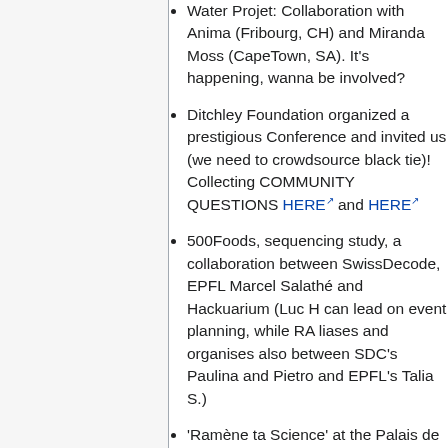Water Projet: Collaboration with Anima (Fribourg, CH) and Miranda Moss (CapeTown, SA). It's happening, wanna be involved?
Ditchley Foundation organized a prestigious Conference and invited us (we need to crowdsource black tie)! Collecting COMMUNITY QUESTIONS HERE and HERE
500Foods, sequencing study, a collaboration between SwissDecode, EPFL Marcel Salathé and Hackuarium (Luc H can lead on event planning, while RA liases and organises also between SDC's Paulina and Pietro and EPFL's Talia S.)
'Ramène ta Science' at the Palais de Rumine, 16mars - Living Instruments and oFoldscope workshops (LucH